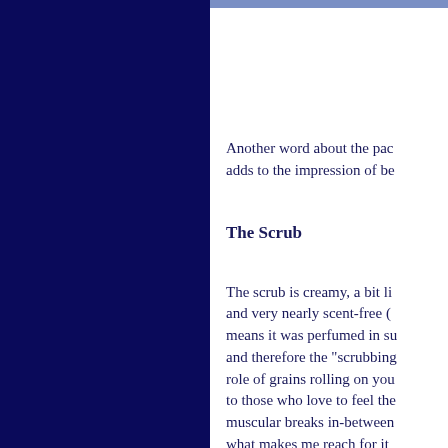Another word about the pac adds to the impression of be
The Scrub
The scrub is creamy, a bit li and very nearly scent-free ( means it was perfumed in su and therefore the "scrubbing role of grains rolling on you to those who love to feel the muscular breaks in-between what makes me reach for it Citriodora also called Verbe